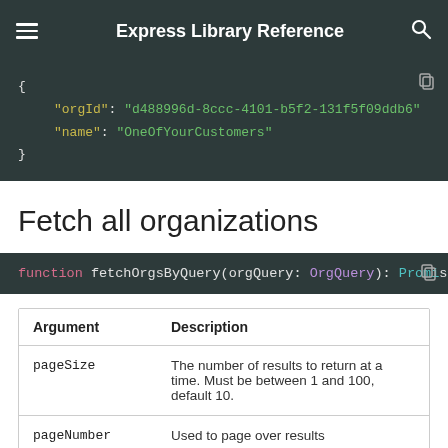Express Library Reference
[Figure (screenshot): Dark-themed code block showing JSON: { "orgId": "d488996d-8ccc-4101-b5f2-131f5f09ddb6", "name": "OneOfYourCustomers" }]
Fetch all organizations
[Figure (screenshot): Dark-themed code block showing function signature: function fetchOrgsByQuery(orgQuery: OrgQuery): Promise]
| Argument | Description |
| --- | --- |
| pageSize | The number of results to return at a time. Must be between 1 and 100, default 10. |
| pageNumber | Used to page over results |